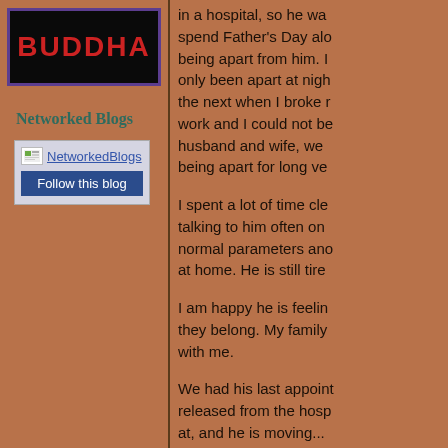[Figure (logo): Buddha blog logo — black background with purple border, red bold uppercase text reading BUDDHA]
Networked Blogs
[Figure (screenshot): NetworkedBlogs widget with logo icon, 'NetworkedBlogs' link text, and a 'Follow this blog' button on blue background]
in a hospital, so he was spend Father's Day alo being apart from him. only been apart at nigh the next when I broke work and I could not be husband and wife, we being apart for long ve
I spent a lot of time cl talking to him often on normal parameters ano at home. He is still tire
I am happy he is feelin they belong. My family with me.
We had his last appoin released from the hosp at, and he is moving...